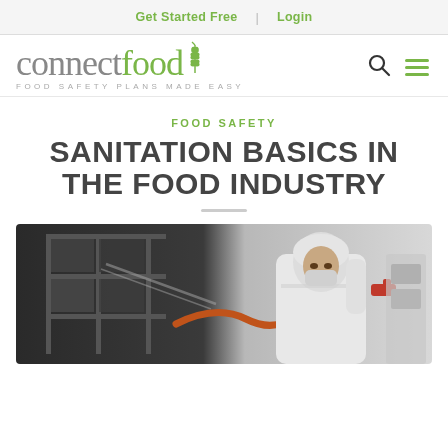Get Started Free | Login
[Figure (logo): ConnectFood logo with wheat icon, tagline: FOOD SAFETY PLANS MADE EASY, plus search and hamburger menu icons]
FOOD SAFETY
SANITATION BASICS IN THE FOOD INDUSTRY
[Figure (photo): Food industry worker in white protective suit, mask, and hair covering, spraying/cleaning industrial equipment with an orange hose]